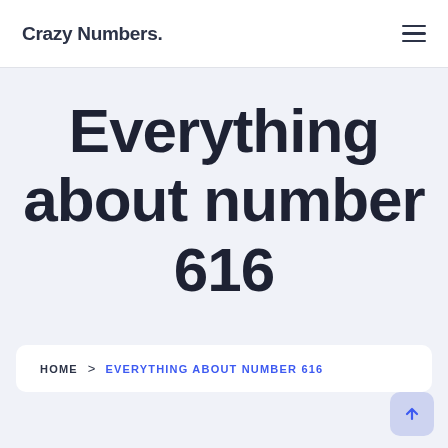Crazy Numbers.
Everything about number 616
HOME > EVERYTHING ABOUT NUMBER 616